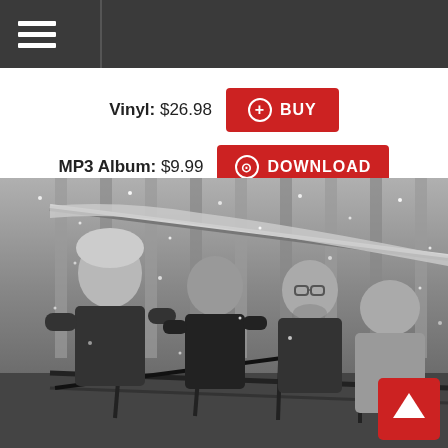Navigation menu
Vinyl: $26.98  BUY
MP3 Album: $9.99  DOWNLOAD
[Figure (photo): Black and white photograph of four band members standing on a balcony or porch with snow falling, in front of a wooden building with snow on the roof. A red back-to-top button is visible in the bottom right corner.]